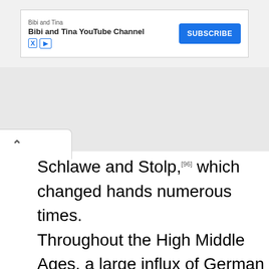[Figure (other): Advertisement banner for Bibi and Tina YouTube Channel with a Subscribe button]
Schlawe and Stolp,[96] which changed hands numerous times.
Throughout the High Middle Ages, a large influx of German settlers and the introduction of German law, custom, and Low German language turned the area west of the Oder into a German one (Ostsiedlung). The Wends, who during the Early Middle Ages had belonged to